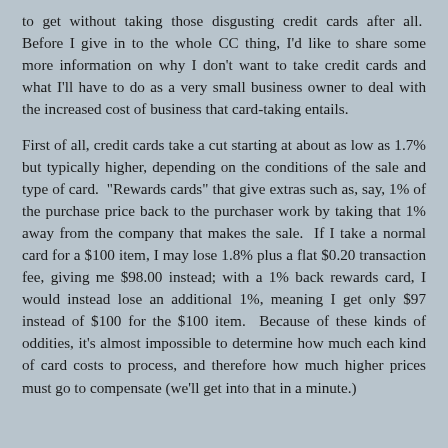to get without taking those disgusting credit cards after all.  Before I give in to the whole CC thing, I'd like to share some more information on why I don't want to take credit cards and what I'll have to do as a very small business owner to deal with the increased cost of business that card-taking entails.
First of all, credit cards take a cut starting at about as low as 1.7% but typically higher, depending on the conditions of the sale and type of card.  "Rewards cards" that give extras such as, say, 1% of the purchase price back to the purchaser work by taking that 1% away from the company that makes the sale.  If I take a normal card for a $100 item, I may lose 1.8% plus a flat $0.20 transaction fee, giving me $98.00 instead; with a 1% back rewards card, I would instead lose an additional 1%, meaning I get only $97 instead of $100 for the $100 item.  Because of these kinds of oddities, it's almost impossible to determine how much each kind of card costs to process, and therefore how much higher prices must go to compensate (we'll get into that in a minute.)